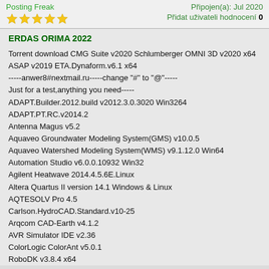Posting Freak | Připojen(a): Jul 2020 | Přidat uživateli hodnocení 0
ERDAS ORIMA 2022
Torrent download CMG Suite v2020 Schlumberger OMNI 3D v2020 x64 ASAP v2019 ETA.Dynaform.v6.1 x64
-----anwer8#nextmail.ru-----change "#" to "@"-----
Just for a test,anything you need-----
ADAPT.Builder.2012.build v2012.3.0.3020 Win3264
ADAPT.PT.RC.v2014.2
Antenna Magus v5.2
Aquaveo Groundwater Modeling System(GMS) v10.0.5
Aquaveo Watershed Modeling System(WMS) v9.1.12.0 Win64
Automation Studio v6.0.0.10932 Win32
Agilent Heatwave 2014.4.5.6E.Linux
Altera Quartus II version 14.1 Windows & Linux
AQTESOLV Pro 4.5
Carlson.HydroCAD.Standard.v10-25
Arqcom CAD-Earth v4.1.2
AVR Simulator IDE v2.36
ColorLogic ColorAnt v5.0.1
RoboDK v3.8.4 x64
Insight Earth v3.6 x64
Topaz JPEG to RAW AI 2.2.1 x64
Veesus.Arena4D.Data.Studio.pro v6.4